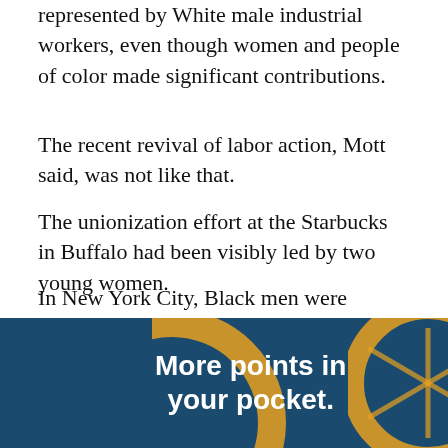represented by White male industrial workers, even though women and people of color made significant contributions.
The recent revival of labor action, Mott said, was not like that.
The unionization effort at the Starbucks in Buffalo had been visibly led by two young women.
In New York City, Black men were credited with organizing a group of warehouse workers into Amazon's first union.
And in Maryland, the first Starbucks to organize had been in Baltimore, where a majority–LGBTQ workforce voted u
[Figure (other): Advertisement banner: 'More points in your pocket.' with decorative circular design on dark blue background, with a close (×) button]
"This...